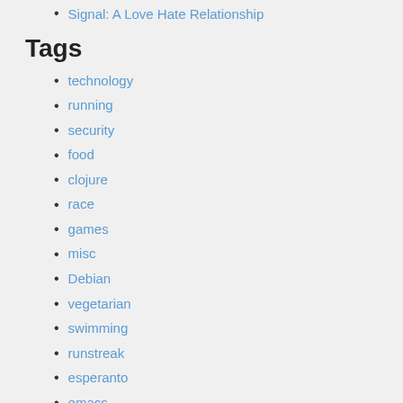Signal: A Love Hate Relationship
Tags
technology
running
security
food
clojure
race
games
misc
Debian
vegetarian
swimming
runstreak
esperanto
emacs
ludoj
Linux
family
work
photos